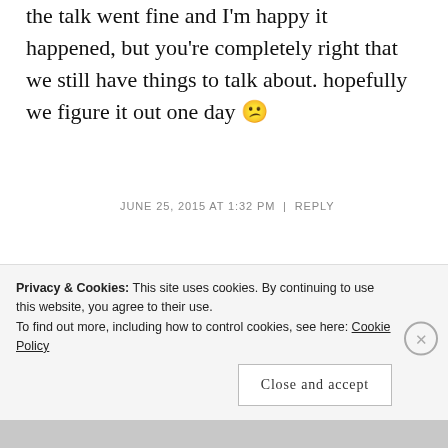the talk went fine and I'm happy it happened, but you're completely right that we still have things to talk about. hopefully we figure it out one day 😕
JUNE 25, 2015 AT 1:32 PM | REPLY
KAYCEE says:
I've been on the pill for the
Privacy & Cookies: This site uses cookies. By continuing to use this website, you agree to their use.
To find out more, including how to control cookies, see here: Cookie Policy
Close and accept